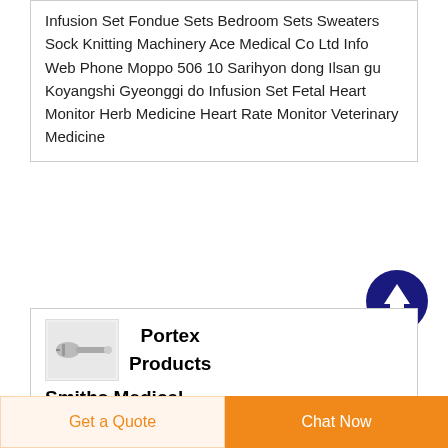Infusion Set Fondue Sets Bedroom Sets Sweaters Sock Knitting Machinery Ace Medical Co Ltd Info Web Phone Moppo 506 10 Sarihyon dong Ilsan gu Koyangshi Gyeonggi do Infusion Set Fetal Heart Monitor Herb Medicine Heart Rate Monitor Veterinary Medicine
[Figure (illustration): Scroll-to-top button: dark blue circle with white upward arrow]
[Figure (photo): Small product image of a medical syringe/infusion set]
Portex Products
Smiths Medical
Portex Bivona TTS Cuffed
Get a Quote
Chat Now